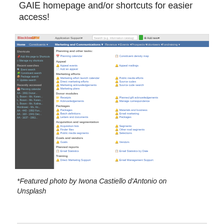GAIE homepage and/or shortcuts for easier access!
[Figure (screenshot): Screenshot of a Blackbaud CRM application interface showing the Marketing and Communications menu with various navigation items including Planning and other tasks, Appeal, Marketing efforts, Donor modules, Packages, Acquisition and segmentation, Goals and vendors, Planned reports, and Training sections.]
*Featured photo by Iwona Castiello d’Antonio on Unsplash